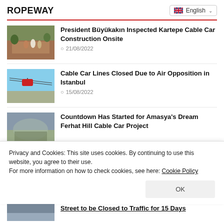ROPEWAY
English
[Figure (photo): People standing at a construction site on a hillside]
President Büyükakın Inspected Kartepe Cable Car Construction Onsite
21/08/2022
[Figure (photo): Cable car gondola over an urban area]
Cable Car Lines Closed Due to Air Opposition in Istanbul
15/08/2022
[Figure (photo): Aerial view of a city with hills]
Countdown Has Started for Amasya's Dream Ferhat Hill Cable Car Project
Privacy and Cookies: This site uses cookies. By continuing to use this website, you agree to their use.
For more information on how to check cookies, see here: Cookie Policy
OK
Street to be Closed to Traffic for 15 Days